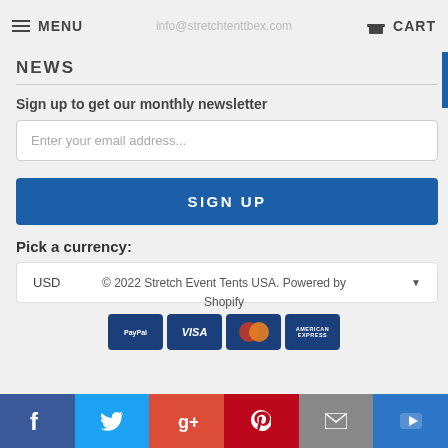MENU   info@stretchtenttbex.com   CART
NEWS
Sign up to get our monthly newsletter
Enter your email address...
SIGN UP
Pick a currency:
USD
© 2022 Stretch Event Tents USA. Powered by Shopify
[Figure (other): Payment icons: PayPal, Visa, Mastercard, American Express]
Social media icons: Facebook, Twitter, Google+, Pinterest, Email, YouTube